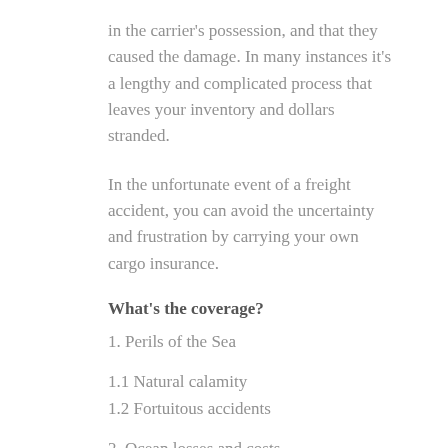in the carrier's possession, and that they caused the damage. In many instances it's a lengthy and complicated process that leaves your inventory and dollars stranded.
In the unfortunate event of a freight accident, you can avoid the uncertainty and frustration by carrying your own cargo insurance.
What's the coverage?
1. Perils of the Sea
1.1 Natural calamity
1.2 Fortuitous accidents
2. Ocean losses and costs
2.1 Ocean loss